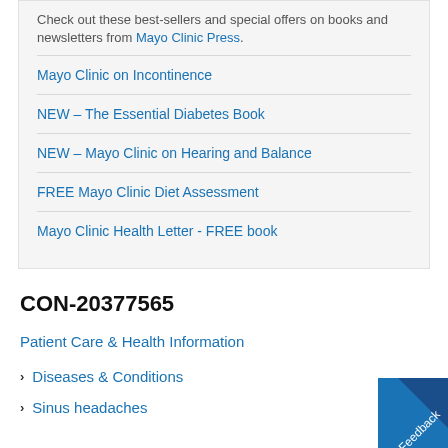Check out these best-sellers and special offers on books and newsletters from Mayo Clinic Press.
Mayo Clinic on Incontinence
NEW – The Essential Diabetes Book
NEW – Mayo Clinic on Hearing and Balance
FREE Mayo Clinic Diet Assessment
Mayo Clinic Health Letter - FREE book
CON-20377565
Patient Care & Health Information
Diseases & Conditions
Sinus headaches